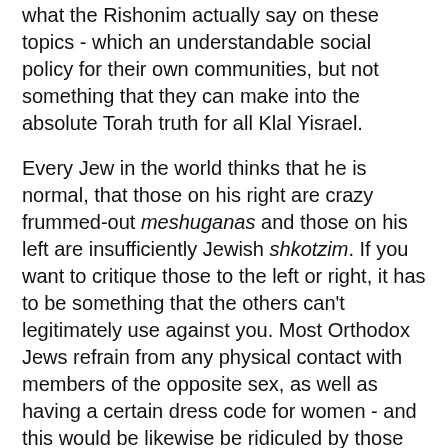what the Rishonim actually say on these topics - which an understandable social policy for their own communities, but not something that they can make into the absolute Torah truth for all Klal Yisrael.
Every Jew in the world thinks that he is normal, that those on his right are crazy frummed-out meshuganas and those on his left are insufficiently Jewish shkotzim. If you want to critique those to the left or right, it has to be something that the others can't legitimately use against you. Most Orthodox Jews refrain from any physical contact with members of the opposite sex, as well as having a certain dress code for women - and this would be likewise be ridiculed by those who do not share that standard. I know many Modern Orthodox Jews who have been offended at how certain Hollywood personalities dressed for Jewish events, such as the Simon Wiesenthal Center's honor awards - and no doubt the Hollywood stars would think that they were being ridiculously prudish and primitive. So who are we to laugh at the Chassidim?
These are the reasons why I didn't write about this story. But I finally got to bout on the and to on this topic (I think) on the...